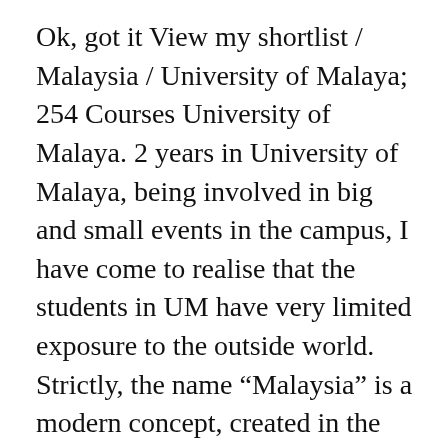Ok, got it View my shortlist / Malaysia / University of Malaya; 254 Courses University of Malaya. 2 years in University of Malaya, being involved in big and small events in the campus, I have come to realise that the students in UM have very limited exposure to the outside world. Strictly, the name “Malaysia” is a modern concept, created in the second half of the 20th century. Online/Distance. Got To Believe: Chichay, nahirapang maghanap ng University. Chichay at Ryan, pumunta sa Malaya University para balikan ang kanilang nakaraan | Got To Believe. 3